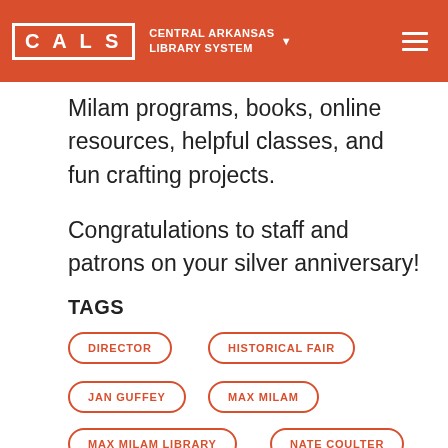CALS CENTRAL ARKANSAS LIBRARY SYSTEM
Milam programs, books, online resources, helpful classes, and fun crafting projects.
Congratulations to staff and patrons on your silver anniversary!
TAGS
DIRECTOR
HISTORICAL FAIR
JAN GUFFEY
MAX MILAM
MAX MILAM LIBRARY
NATE COULTER